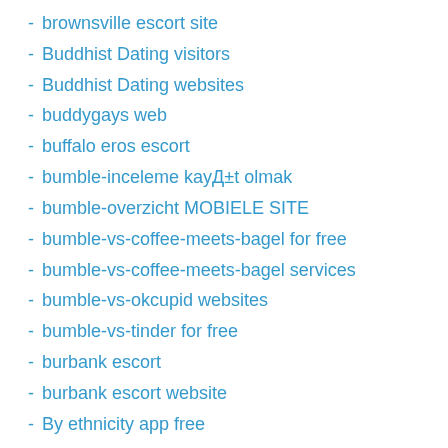brownsville escort site
Buddhist Dating visitors
Buddhist Dating websites
buddygays web
buffalo eros escort
bumble-inceleme kayД±t olmak
bumble-overzicht MOBIELE SITE
bumble-vs-coffee-meets-bagel for free
bumble-vs-coffee-meets-bagel services
bumble-vs-okcupid websites
bumble-vs-tinder for free
burbank escort
burbank escort website
By ethnicity app free
By ethnicity site